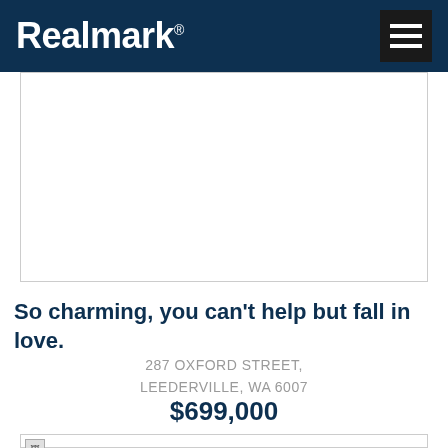Realmark
[Figure (photo): Property image placeholder (top, blank white area with border)]
So charming, you can't help but fall in love.
287 OXFORD STREET, LEEDERVILLE, WA 6007
$699,000
[Figure (photo): Property image placeholder (bottom, partially visible, with broken image icon)]